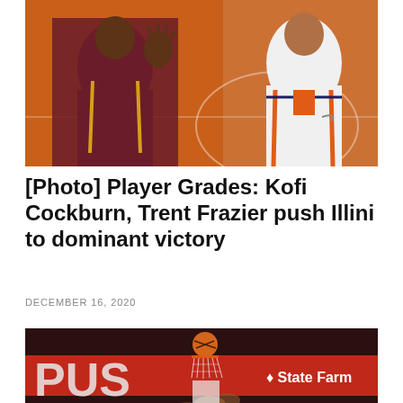[Figure (photo): Basketball game photo: player in maroon/gold jersey on left raising hand, player in white Illinois Illini uniform on right standing on orange court]
[Photo] Player Grades: Kofi Cockburn, Trent Frazier push Illini to dominant victory
DECEMBER 16, 2020
[Figure (photo): Basketball game photo: player dunking or laying up ball near hoop, State Farm advertisement visible on backboard support, dark red arena background with partial 'PUSH' text visible]